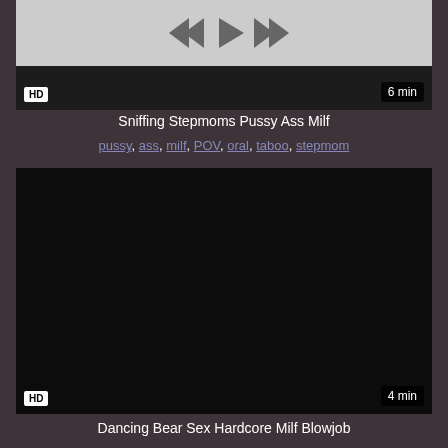[Figure (screenshot): Video thumbnail - partially visible at top, gray area with playback controls (rewind, play, fast-forward buttons) and dark strip below. HD badge bottom left, 6 min duration badge bottom right.]
Sniffing Stepmoms Pussy Ass Milf
pussy, ass, milf, POV, oral, taboo, stepmom
[Figure (screenshot): Video thumbnail - dark/black background. HD badge bottom left, 4 min duration badge bottom right.]
Dancing Bear Sex Hardcore Milf Blowjob